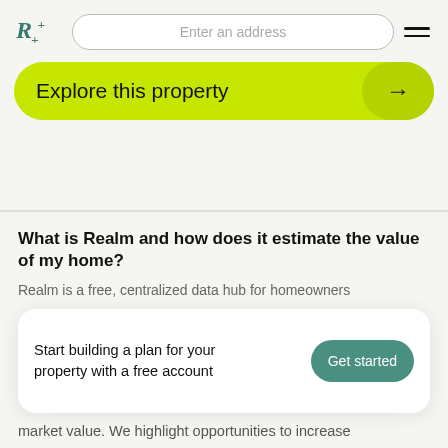R+ [logo] | Enter an address [search bar] | ≡ [menu]
Explore this property →
What is Realm and how does it estimate the value of my home?
Realm is a free, centralized data hub for homeowners
Start building a plan for your property with a free account
Get started
market value. We highlight opportunities to increase